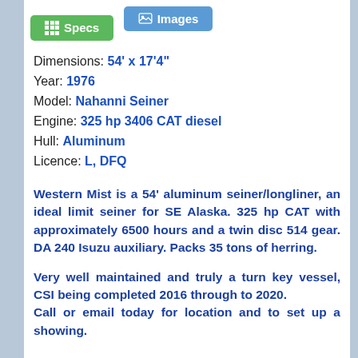[Figure (screenshot): Two navigation buttons: green 'Specs' button with grid icon and blue 'Images' button with image icon]
Dimensions: 54' x 17'4"
Year: 1976
Model: Nahanni Seiner
Engine: 325 hp 3406 CAT diesel
Hull: Aluminum
Licence: L, DFQ
Western Mist is a 54' aluminum seiner/longliner, an ideal limit seiner for SE Alaska. 325 hp CAT with approximately 6500 hours and a twin disc 514 gear. DA 240 Isuzu auxiliary. Packs 35 tons of herring.
Very well maintained and truly a turn key vessel, CSI being completed 2016 through to 2020. Call or email today for location and to set up a showing.